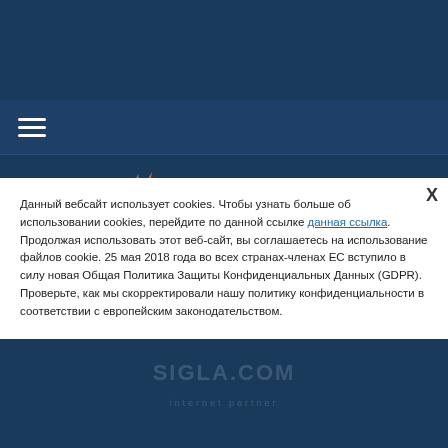Dinamica Generale S.p.A. website header with navigation
[Figure (logo): Dinamica Generale logo - orange lightning bolt with company name and tagline Electronic Solutions & Sensors]
Dinamica Generale S.p.A.
Via Mondadori, 15 - 46025 - Poggio Rusco (MN)
рег.номер компании 01599500202
Уставной фонд 1.000.000,00 I.V.
Banca...
Данный вебсайт использует cookies. Чтобы узнать больше об использовании cookies, перейдите по данной ссылке данная ссылка. Продолжая использовать этот веб-сайт, вы соглашаетесь на использование файлов cookie. 25 мая 2018 года во всех странах-членах ЕС вступило в силу новая Общая Политика Защиты Конфиденциальных Данных (GDPR). Проверьте, как мы скорректировали нашу политику конфиденциальности в соответствии с европейским законодательством.